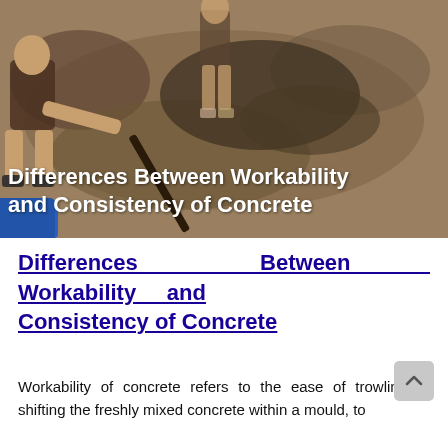[Figure (photo): Photo of workers mixing concrete by hand on sandy ground, with a blue bucket visible at bottom left. Overlay text reads 'Differences Between Workability and Consistency of Concrete'.]
Differences Between Workability and Consistency of Concrete
Workability of concrete refers to the ease of trowling or shifting the freshly mixed concrete within a mould, to